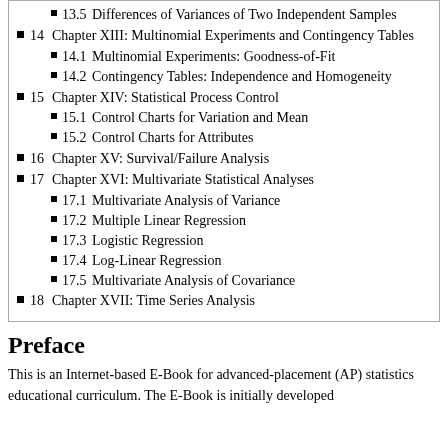13.5  Differences of Variances of Two Independent Samples
14  Chapter XIII: Multinomial Experiments and Contingency Tables
14.1  Multinomial Experiments: Goodness-of-Fit
14.2  Contingency Tables: Independence and Homogeneity
15  Chapter XIV: Statistical Process Control
15.1  Control Charts for Variation and Mean
15.2  Control Charts for Attributes
16  Chapter XV: Survival/Failure Analysis
17  Chapter XVI: Multivariate Statistical Analyses
17.1  Multivariate Analysis of Variance
17.2  Multiple Linear Regression
17.3  Logistic Regression
17.4  Log-Linear Regression
17.5  Multivariate Analysis of Covariance
18  Chapter XVII: Time Series Analysis
Preface
This is an Internet-based E-Book for advanced-placement (AP) statistics educational curriculum. The E-Book is initially developed